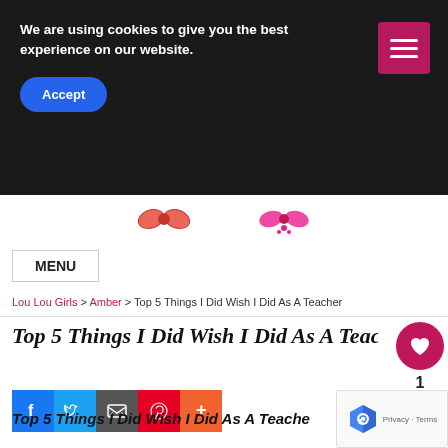We are using cookies to give you the best experience on our website.
Accept
MENU
Lou Lou Girls > Amber > Top 5 Things I Did Wish I Did As A Teacher
Top 5 Things I Did Wish I Did As A Teacher
[Figure (infographic): Social share buttons: Facebook, Twitter, Email, Pinterest, More]
Top 5 Things I Did Wish I Did As A Teacher